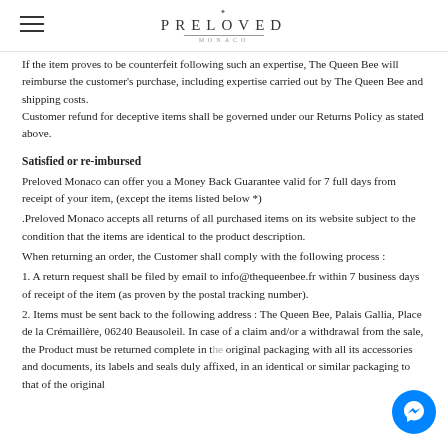PRELOVED MONACO
If the item proves to be counterfeit following such an expertise, The Queen Bee will reimburse the customer's purchase, including expertise carried out by The Queen Bee and shipping costs.
Customer refund for deceptive items shall be governed under our Returns Policy as stated above.
Satisfied or re-imbursed
Preloved Monaco can offer you a Money Back Guarantee valid for 7 full days from receipt of your item, (except the items listed below *)
.Preloved Monaco accepts all returns of all purchased items on its website subject to the condition that the items are identical to the product description.
When returning an order, the Customer shall comply with the following process :
1. A return request shall be filed by email to info@thequeenbee.fr within 7 business days of receipt of the item (as proven by the postal tracking number).
2. Items must be sent back to the following address : The Queen Bee, Palais Gallia, Place de la Crémaillère, 06240 Beausoleil. In case of a claim and/or a withdrawal from the sale, the Product must be returned complete in the original packaging with all its accessories and documents, its labels and seals duly affixed, in an identical or similar packaging to that of the original